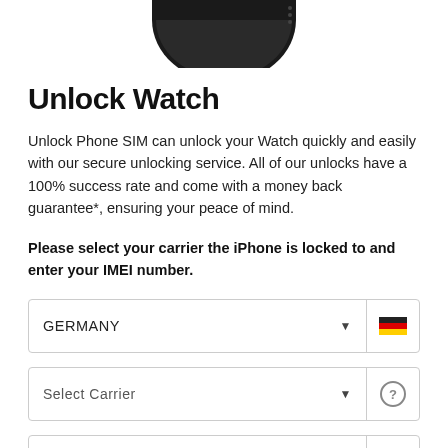[Figure (photo): Partial top view of a dark circular smartwatch/Apple Watch, cropped at the top of the page]
Unlock Watch
Unlock Phone SIM can unlock your Watch quickly and easily with our secure unlocking service. All of our unlocks have a 100% success rate and come with a money back guarantee*, ensuring your peace of mind.
Please select your carrier the iPhone is locked to and enter your IMEI number.
GERMANY (dropdown with German flag icon)
Select Carrier (dropdown with help icon)
IMEI Number (input with help icon)